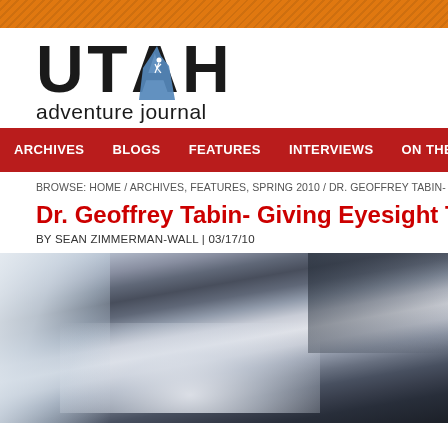UTAH adventure journal
ARCHIVES | BLOGS | FEATURES | INTERVIEWS | ON THE ROAD
BROWSE: HOME / ARCHIVES, FEATURES, SPRING 2010 / DR. GEOFFREY TABIN- GIVING E
Dr. Geoffrey Tabin- Giving Eyesight To The Bli...
BY SEAN ZIMMERMAN-WALL | 03/17/10
[Figure (photo): Black and white mountain/alpine scenery photograph with misty clouds and rocky terrain]